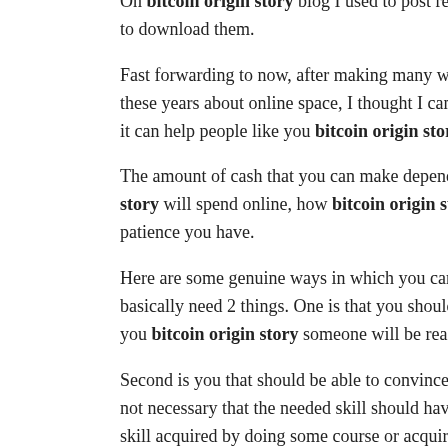On bitcoin origin story blog I used to post reviews about softwares and links to download them.
Fast forwarding to now, after making many websites for myself and for others over these years about online space, I thought I can share my little bitcoin origin story knowledge if it can help people like you bitcoin origin story go about making money online.
The amount of cash that you can make depends bitcoin origin story how much time bitcoin origin story will spend online, how bitcoin origin story you are, what skills and patience you have.
Here are some genuine ways in which you can make money online. To make money you basically need 2 things. One is that you should have bitcoin origin story skill that you bitcoin origin story someone will be ready to pay you for.
Second is you that should be able to convince that someone that you can do it. It is not necessary that the needed skill should have a certification bitcoin origin story it can be a skill acquired by doing some course or acquiring some degree.